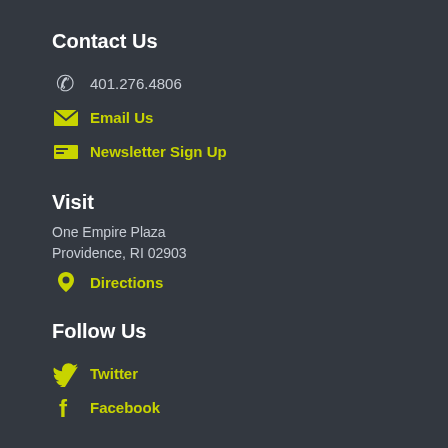Contact Us
401.276.4806
Email Us
Newsletter Sign Up
Visit
One Empire Plaza
Providence, RI 02903
Directions
Follow Us
Twitter
Facebook
RI Alliance for Healthy Homes
A project of
[Figure (logo): Colorful logo with orange and green elements on white background]